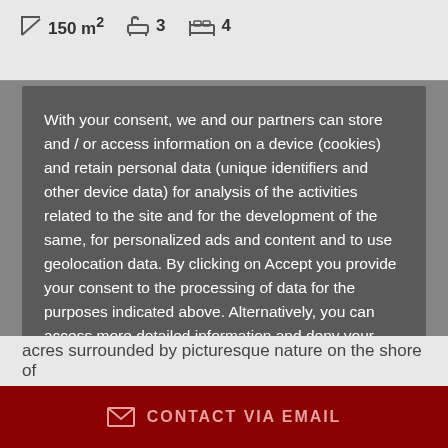150 m²  3  4
With your consent, we and our partners can store and / or access information on a device (cookies) and retain personal data (unique identifiers and other device data) for analysis of the activities related to the site and for the development of the same, for personalized ads and content and to use geolocation data. By clicking on Accept you provide your consent to the processing of data for the purposes indicated above. Alternatively, you can access more detailed information and deny your consent or change your preferences. You can change your choices at any time from  Cookie Policy
MORE INFORMATION
ACCEPT
acres surrounded by picturesque nature on the shore of
CONTACT VIA EMAIL